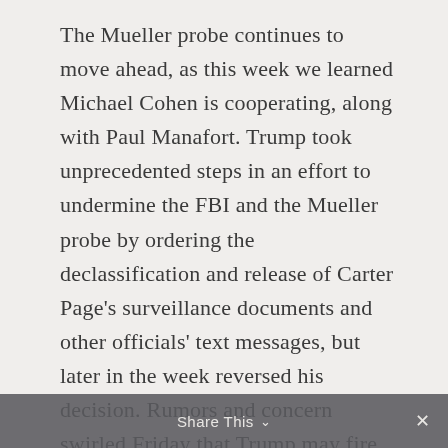The Mueller probe continues to move ahead, as this week we learned Michael Cohen is cooperating, along with Paul Manafort. Trump took unprecedented steps in an effort to undermine the FBI and the Mueller probe by ordering the declassification and release of Carter Page's surveillance documents and other officials' text messages, but later in the week reversed his decision. Rumors and concern swirled Friday that Trump may fire Rosenstein, using a NYT article claimed Rosenstein secretly suggested recording Trump and discussed the 25th Amendment as a pretext.
Share This ∨  ✕